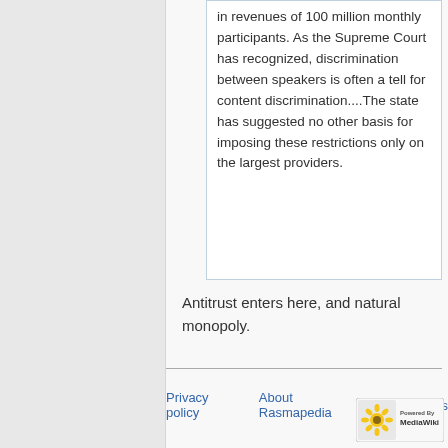in revenues of 100 million monthly participants. As the Supreme Court has recognized, discrimination between speakers is often a tell for content discrimination....The state has suggested no other basis for imposing these restrictions only on the largest providers.
Antitrust enters here, and natural monopoly.
Privacy policy · About Rasmapedia · Disclaimers